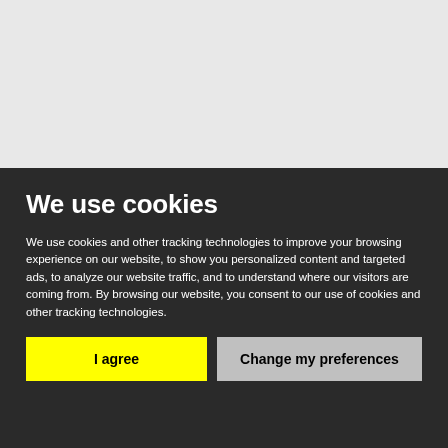[Figure (screenshot): Gray background area representing a website screenshot partially obscured by cookie consent overlay]
We use cookies
We use cookies and other tracking technologies to improve your browsing experience on our website, to show you personalized content and targeted ads, to analyze our website traffic, and to understand where our visitors are coming from. By browsing our website, you consent to our use of cookies and other tracking technologies.
I agree
Change my preferences